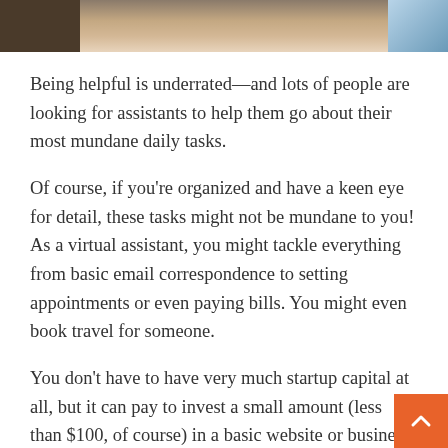[Figure (photo): Partial photo visible at the top of the page, showing what appears to be a person and background elements in warm tones]
Being helpful is underrated—and lots of people are looking for assistants to help them go about their most mundane daily tasks.
Of course, if you're organized and have a keen eye for detail, these tasks might not be mundane to you! As a virtual assistant, you might tackle everything from basic email correspondence to setting appointments or even paying bills. You might even book travel for someone.
You don't have to have very much startup capital at all, but it can pay to invest a small amount (less than $100, of course) in a basic website or business ca
Virtual assistant businesses can also primarily be